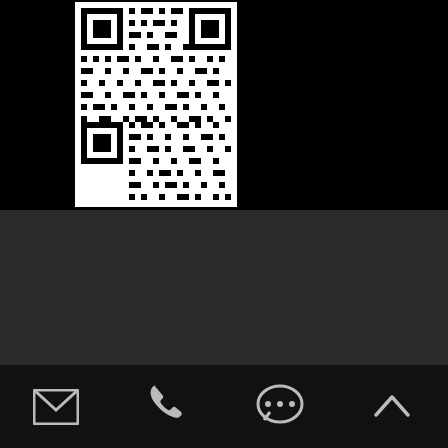[Figure (other): QR code on black background]
Copyright © Goolton Technology Co., Ltd. All Rights Reserved.
Sitemap  /  Privacy Policy
[Figure (other): Social media icons: Facebook, Twitter, Pinterest, LinkedIn, YouTube — all in red]
[Figure (other): Bottom navigation bar with email, phone, chat, and up-arrow icons in white/grey]